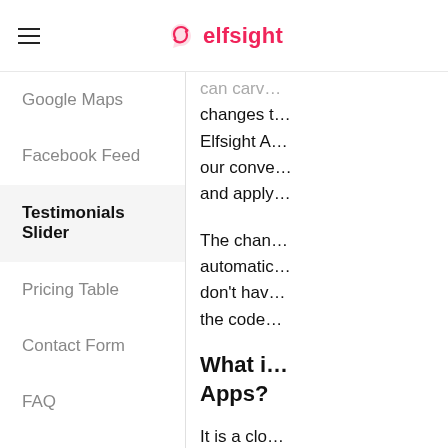elfsight
Google Maps
Facebook Feed
Testimonials Slider
Pricing Table
Contact Form
FAQ
Form Builder
Twitter Feed
Countdown Timer
changes t... Elfsight A... our conve... and apply...
The chan... automatic... don't hav... the code...
What i... Apps?
It is a clo...